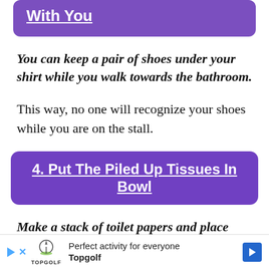3. Have A Tricky Pair Of Shoes With You
You can keep a pair of shoes under your shirt while you walk towards the bathroom.
This way, no one will recognize your shoes while you are on the stall.
4. Put The Piled Up Tissues In Bowl
Make a stack of toilet papers and place them in the bowl where you think your poop will
[Figure (other): Advertisement banner for Topgolf: 'Perfect activity for everyone' with Topgolf logo and blue arrow button]